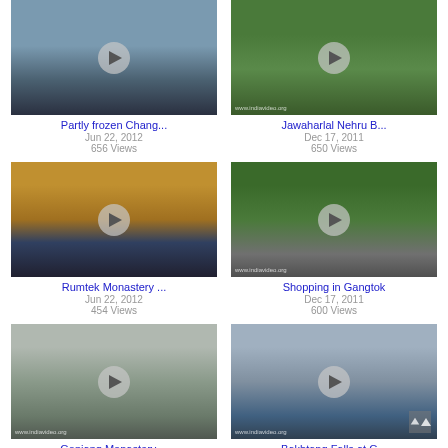[Figure (screenshot): Video thumbnail: Partly frozen river/lake scene]
Partly frozen Chang...
Jun 22, 2012
656 Views
[Figure (screenshot): Video thumbnail: Sign at jungle/forest area with www.indiavideo.org watermark]
Jawaharlal Nehru B...
Dec 17, 2011
650 Views
[Figure (screenshot): Video thumbnail: Hotel Kunga Delek Penzion and Guesthouse sign]
Rumtek Monastery ...
Jun 22, 2012
454 Views
[Figure (screenshot): Video thumbnail: People shopping in Gangtok street with www.indiavideo.org watermark]
Shopping in Gangtok
Dec 17, 2011
600 Views
[Figure (screenshot): Video thumbnail: Gonjang Monastery exterior with monks, www.indiavideo.org watermark]
Gonjang Monastery,...
Dec 17, 2011
[Figure (screenshot): Video thumbnail: Bakhtang Falls waterfall scene with www.indiavideo.org watermark]
Bakhtang Falls at G...
Dec 17, 2011